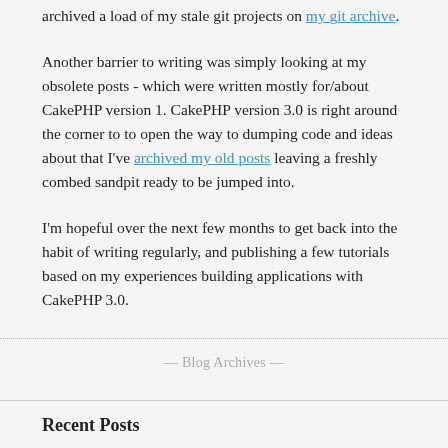archived a load of my stale git projects on my git archive.
Another barrier to writing was simply looking at my obsolete posts - which were written mostly for/about CakePHP version 1. CakePHP version 3.0 is right around the corner to to open the way to dumping code and ideas about that I've archived my old posts leaving a freshly combed sandpit ready to be jumped into.
I'm hopeful over the next few months to get back into the habit of writing regularly, and publishing a few tutorials based on my experiences building applications with CakePHP 3.0.
— Blog Archives —
Recent Posts